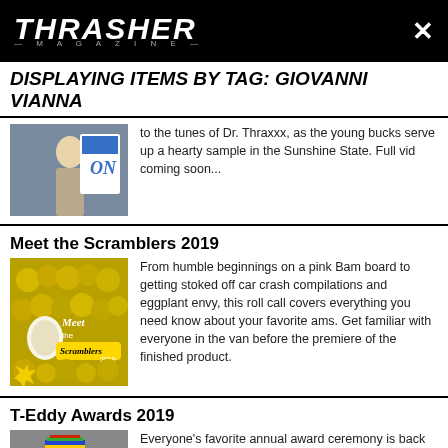THRASHER MAGAZINE
DISPLAYING ITEMS BY TAG: GIOVANNI VIANNA
to the tunes of Dr. Thraxxx, as the young bucks serve up a hearty sample in the Sunshine State. Full vid coming soon...
Meet the Scramblers 2019
From humble beginnings on a pink Bam board to getting stoked off car crash compilations and eggplant envy, this roll call covers everything you need know about your favorite ams. Get familiar with everyone in the van before the premiere of the finished product.
T-Eddy Awards 2019
Everyone's favorite annual award ceremony is back to celebrate the year's best breakthroughs and bunts. If